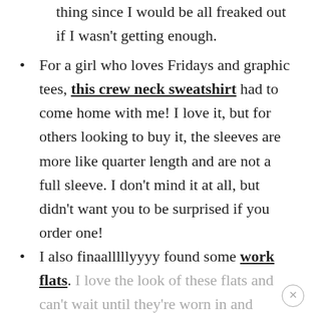thing since I would be all freaked out if I wasn't getting enough.
For a girl who loves Fridays and graphic tees, this crew neck sweatshirt had to come home with me! I love it, but for others looking to buy it, the sleeves are more like quarter length and are not a full sleeve. I don't mind it at all, but didn't want you to be surprised if you order one!
I also finaalllllyyyy found some work flats. I love the look of these flats and can't wait until they're worn in and